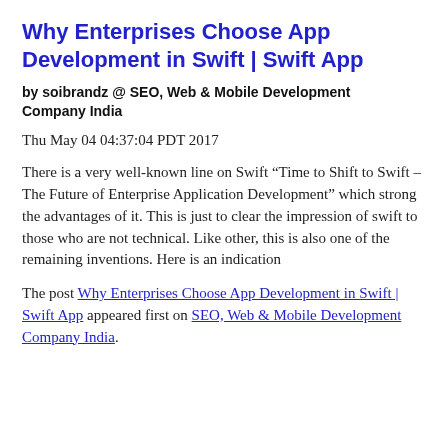Why Enterprises Choose App Development in Swift | Swift App
by soibrandz @ SEO, Web & Mobile Development Company India
Thu May 04 04:37:04 PDT 2017
There is a very well-known line on Swift “Time to Shift to Swift – The Future of Enterprise Application Development” which strong the advantages of it. This is just to clear the impression of swift to those who are not technical. Like other, this is also one of the remaining inventions. Here is an indication
The post Why Enterprises Choose App Development in Swift | Swift App appeared first on SEO, Web & Mobile Development Company India.